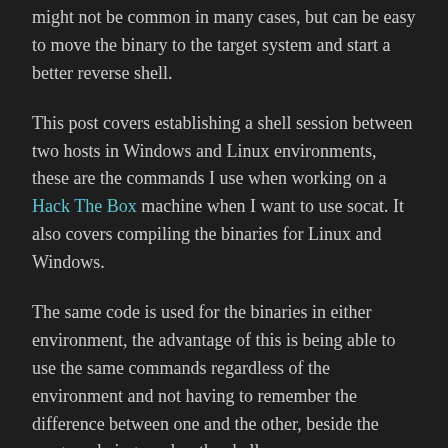might not be common in many cases, but can be easy to move the binary to the target system and start a better reverse shell.
This post covers establishing a shell session between two hosts in Windows and Linux environments, these are the commands I use when working on a Hack The Box machine when I want to use socat. It also covers compiling the binaries for Linux and Windows.
The same code is used for the binaries in either environment, the advantage of this is being able to use the same commands regardless of the environment and not having to remember the difference between one and the other, beside the program being used as the shell.
Read more...